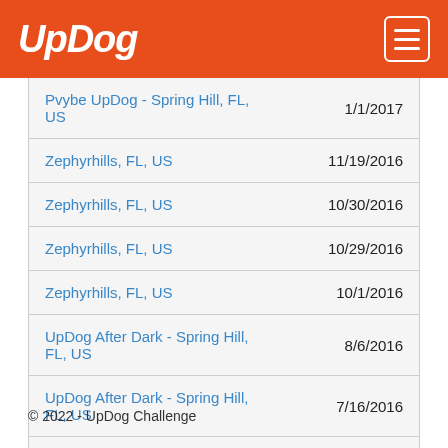UpDog
| Location | Date |
| --- | --- |
| Pvybe UpDog - Spring Hill, FL, US | 1/1/2017 |
| Zephyrhills, FL, US | 11/19/2016 |
| Zephyrhills, FL, US | 10/30/2016 |
| Zephyrhills, FL, US | 10/29/2016 |
| Zephyrhills, FL, US | 10/1/2016 |
| UpDog After Dark - Spring Hill, FL, US | 8/6/2016 |
| UpDog After Dark - Spring Hill, FL, US | 7/16/2016 |
| Brooksville, FL, US | 11/24/2015 |
© 2022 - UpDog Challenge